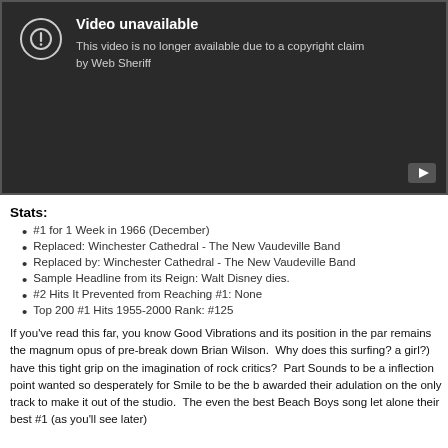[Figure (screenshot): YouTube video unavailable screen with dark background. Shows a circle with exclamation mark icon, title 'Video unavailable', and message 'This video is no longer available due to a copyright claim by Web Sheriff'. A YouTube play button icon is in the bottom right corner.]
Stats:
#1 for 1 Week in 1966 (December)
Replaced: Winchester Cathedral - The New Vaudeville Band
Replaced by: Winchester Cathedral - The New Vaudeville Band
Sample Headline from its Reign: Walt Disney dies.
#2 Hits It Prevented from Reaching #1: None
Top 200 #1 Hits 1955-2000 Rank: #125
If you've read this far, you know Good Vibrations and its position in the par remains the magnum opus of pre-break down Brian Wilson. Why does this surfing? a girl?) have this tight grip on the imagination of rock critics? Part Sounds to be a inflection point wanted so desperately for Smile to be the b awarded their adulation on the only track to make it out of the studio. The even the best Beach Boys song let alone their best #1 (as you'll see later)